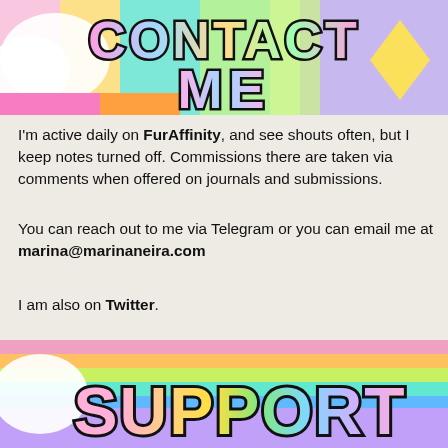[Figure (illustration): Colorful banner with rainbow pastel background showing text 'CONTACT ME' in large bubbly outlined letters with pink, blue, and multicolor gradient fill with black outlines. Decorative shapes including diamonds and clouds visible.]
I'm active daily on FurAffinity, and see shouts often, but I keep notes turned off. Commissions there are taken via comments when offered on journals and submissions.
You can reach out to me via Telegram or you can email me at marina@marinaneira.com
I am also on Twitter.
[Figure (illustration): A decorative row of colorful pixel-art plus/cross symbols in red, orange, yellow, green, teal, blue, purple, and red arranged horizontally.]
[Figure (illustration): Colorful banner with rainbow stripes background showing text 'SUPPORT' in large bubbly pastel rainbow letters with black outlines.]